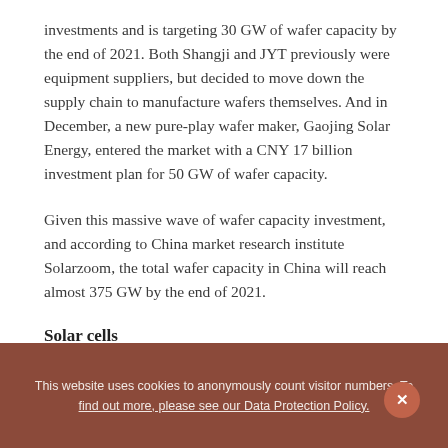investments and is targeting 30 GW of wafer capacity by the end of 2021. Both Shangji and JYT previously were equipment suppliers, but decided to move down the supply chain to manufacture wafers themselves. And in December, a new pure-play wafer maker, Gaojing Solar Energy, entered the market with a CNY 17 billion investment plan for 50 GW of wafer capacity.
Given this massive wave of wafer capacity investment, and according to China market research institute Solarzoom, the total wafer capacity in China will reach almost 375 GW by the end of 2021.
Solar cells
This website uses cookies to anonymously count visitor numbers. To find out more, please see our Data Protection Policy.